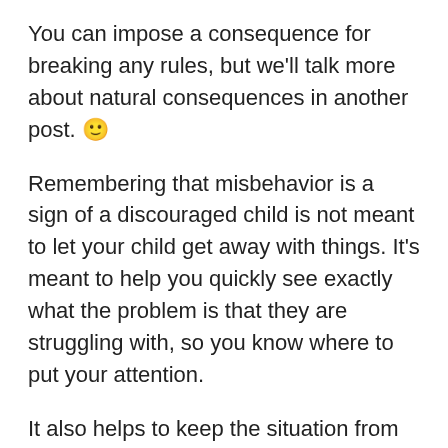You can impose a consequence for breaking any rules, but we'll talk more about natural consequences in another post. 🙂
Remembering that misbehavior is a sign of a discouraged child is not meant to let your child get away with things. It's meant to help you quickly see exactly what the problem is that they are struggling with, so you know where to put your attention.
It also helps to keep the situation from getting worse. And more importantly, it allows both of you to be able to watch that movie. Afterall, those moments of feeling understood deepen your bond and make the bad day finally go away.